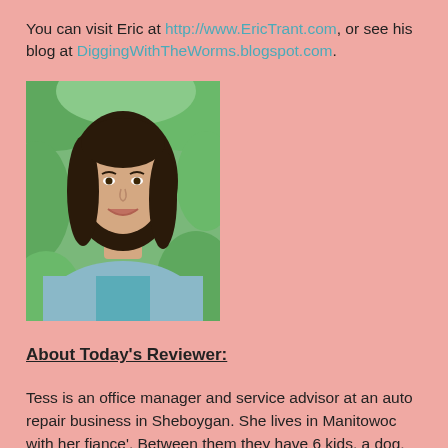You can visit Eric at http://www.EricTrant.com, or see his blog at DiggingWithTheWorms.blogspot.com.
[Figure (photo): Portrait photo of a woman with dark shoulder-length hair, wearing a light blue cardigan over a teal top, smiling, with green foliage in the background.]
About Today's Reviewer:
Tess is an office manager and service advisor at an auto repair business in Sheboygan. She lives in Manitowoc with her fiance'. Between them they have 6 kids, a dog, and a cat